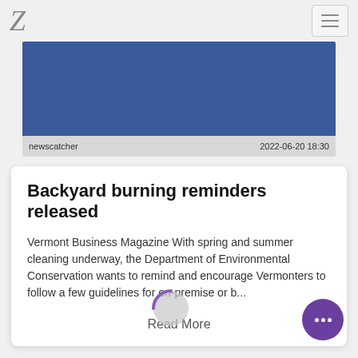Z (logo) | hamburger menu
[Figure (photo): Blue rectangular image area (article hero image, mostly solid blue)]
newscatcher    2022-06-20 18:30
Backyard burning reminders released
Vermont Business Magazine With spring and summer cleaning underway, the Department of Environmental Conservation wants to remind and encourage Vermonters to follow a few guidelines for on-premise or b...
Read More